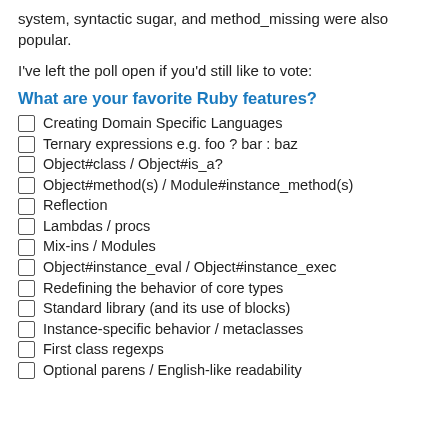system, syntactic sugar, and method_missing were also popular.
I've left the poll open if you'd still like to vote:
What are your favorite Ruby features?
Creating Domain Specific Languages
Ternary expressions e.g. foo ? bar : baz
Object#class / Object#is_a?
Object#method(s) / Module#instance_method(s)
Reflection
Lambdas / procs
Mix-ins / Modules
Object#instance_eval / Object#instance_exec
Redefining the behavior of core types
Standard library (and its use of blocks)
Instance-specific behavior / metaclasses
First class regexps
Optional parens / English-like readability